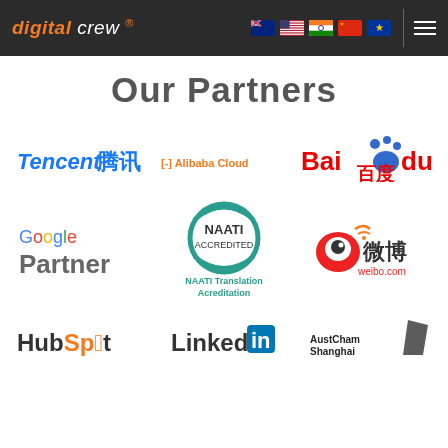digital crew — navigation header with flags
Our Partners
[Figure (logo): Tencent 腾讯 logo in blue italic]
[Figure (logo): Alibaba Cloud logo in orange]
[Figure (logo): Baidu 百度 logo in red and blue]
[Figure (logo): Google Partner logo]
[Figure (logo): NAATI Translation Acreditation circular teal logo]
[Figure (logo): Weibo 微博 weibo.com logo]
[Figure (logo): HubSpot logo]
[Figure (logo): LinkedIn logo]
[Figure (logo): AustCham Shanghai logo]